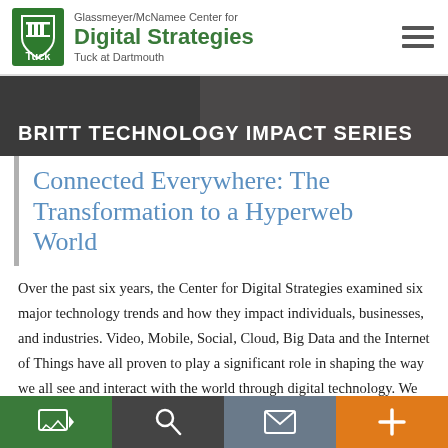Glassmeyer/McNamee Center for Digital Strategies
Tuck at Dartmouth
BRITT TECHNOLOGY IMPACT SERIES
Connected Everywhere: The Transformation to a Hyperweb World
Over the past six years, the Center for Digital Strategies examined six major technology trends and how they impact individuals, businesses, and industries. Video, Mobile, Social, Cloud, Big Data and the Internet of Things have all proven to play a significant role in shaping the way we all see and interact with the world through digital technology. We now face a perfect storm where these technologies are coming together to change
Navigation bar: Video | Search | Email | Add